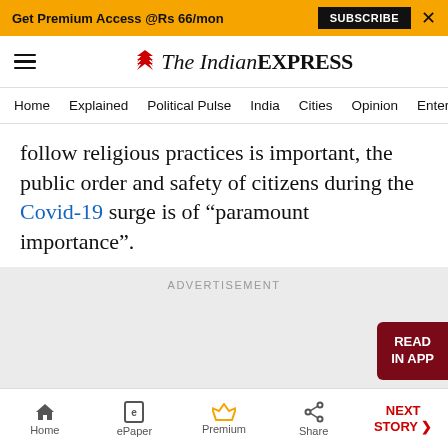Get Premium Access @Rs 66/mon  SUBSCRIBE  X
[Figure (logo): The Indian Express newspaper logo with hamburger menu icon]
Home  Explained  Political Pulse  India  Cities  Opinion  Entertainment
follow religious practices is important, the public order and safety of citizens during the Covid-19 surge is of “paramount importance”.
ADVERTISEMENT
[Figure (other): Advertisement placeholder area with READ IN APP button]
Home  ePaper  Premium  Share  NEXT STORY